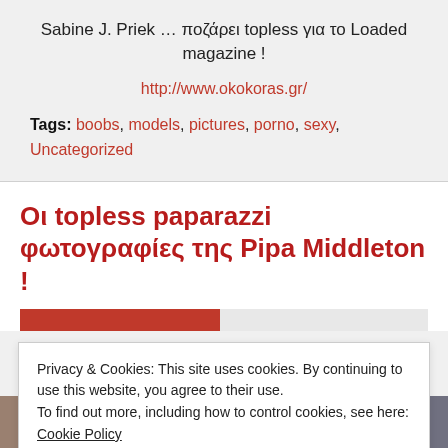Sabine J. Priek … ποζάρει topless για το Loaded magazine !
http://www.okokoras.gr/
Tags: boobs, models, pictures, porno, sexy, Uncategorized
Οι topless paparazzi φωτογραφίες της Pipa Middleton !
Privacy & Cookies: This site uses cookies. By continuing to use this website, you agree to their use.
To find out more, including how to control cookies, see here: Cookie Policy
Close and accept